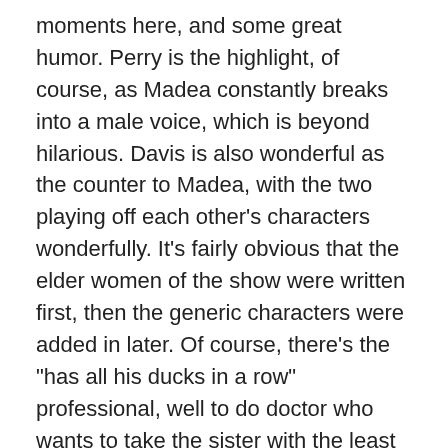moments here, and some great humor. Perry is the highlight, of course, as Madea constantly breaks into a male voice, which is beyond hilarious. Davis is also wonderful as the counter to Madea, with the two playing off each other's characters wonderfully. It's fairly obvious that the elder women of the show were written first, then the generic characters were added in later. Of course, there's the "has all his ducks in a row" professional, well to do doctor who wants to take the sister with the least going for her out for some dancing and romancing, but, come on, there's one of those characters in almost every Perry production. We should be used to it by now. Don't forget the pissed off, but not quite sure why, independent woman, either! 'Madea's Big Happy Family' falls into almost every one of Perry's film cliches, so one will